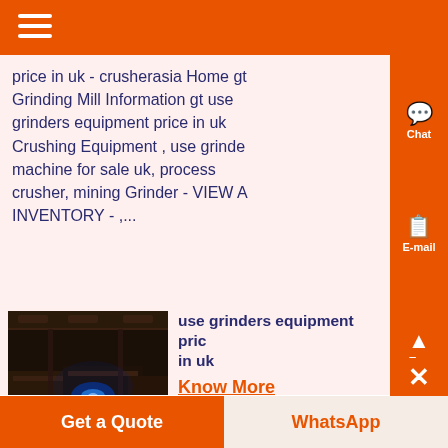Menu (hamburger icon) — orange header bar
price in uk - crusherasia Home gt Grinding Mill Information gt use grinders equipment price in uk Crushing Equipment , use grinders machine for sale uk, process crusher, mining Grinder - VIEW A INVENTORY - ,...
[Figure (photo): Industrial factory floor with machinery and blue light glow, dark interior]
use grinders equipment price in uk
Know More
valve refacing grinder equipment
Chat
E-mail
Top
Get a Quote | WhatsApp